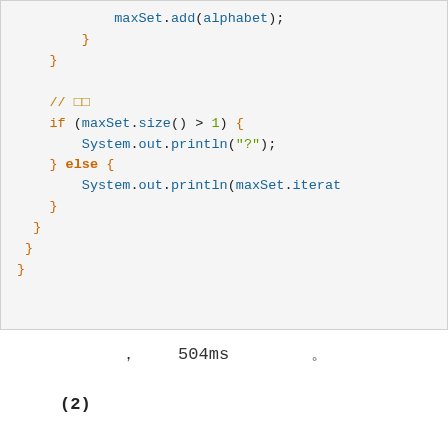[Figure (screenshot): Code snippet in Java showing maxSet.add(alphabet), closing braces, a comment line, an if/else block checking maxSet.size() > 1, printing '?' or maxSet.iterator result.]
，  504ms  。
(2)